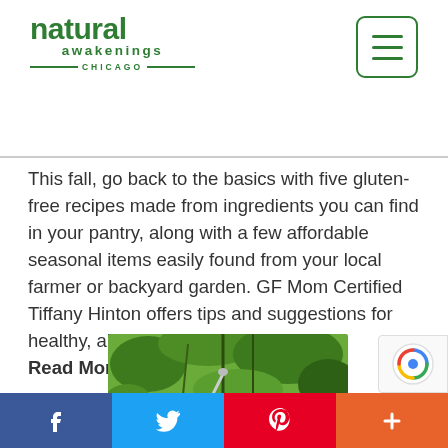natural awakenings CHICAGO
This fall, go back to the basics with five gluten-free recipes made from ingredients you can find in your pantry, along with a few affordable seasonal items easily found from your local farmer or backyard garden. GF Mom Certified Tiffany Hinton offers tips and suggestions for healthy, allergen-free cooking. Read More »
[Figure (photo): A hand holding a white garlic or similar vegetable in a green garden setting with plants and stems in the background.]
f  (Twitter bird)  P  +